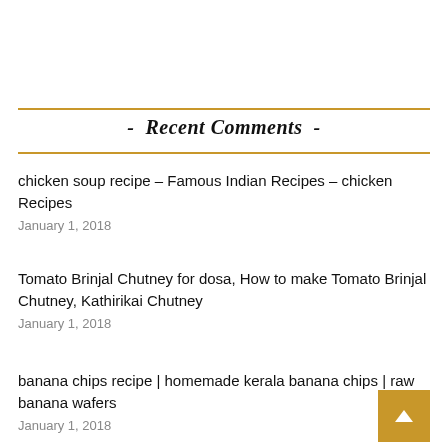- Recent Comments -
chicken soup recipe – Famous Indian Recipes – chicken Recipes
January 1, 2018
Tomato Brinjal Chutney for dosa, How to make Tomato Brinjal Chutney, Kathirikai Chutney
January 1, 2018
banana chips recipe | homemade kerala banana chips | raw banana wafers
January 1, 2018